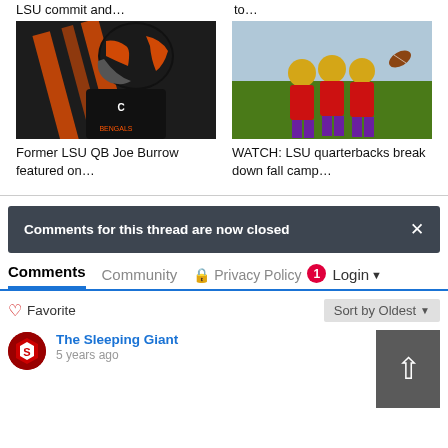LSU commit and…
to…
[Figure (photo): Cincinnati Bengals quarterback Joe Burrow in black and orange uniform with captain C patch, holding football]
[Figure (photo): LSU quarterbacks in practice, players in red and purple catching a football during fall camp]
Former LSU QB Joe Burrow featured on…
WATCH: LSU quarterbacks break down fall camp…
Comments for this thread are now closed
Comments   Community   🔒 Privacy Policy   1   Login ▾
♡ Favorite
Sort by Oldest
The Sleeping Giant
5 years ago